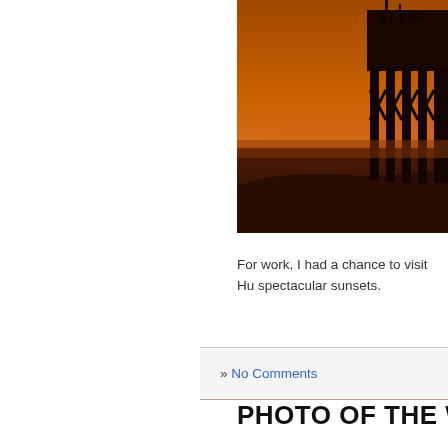[Figure (photo): A silhouette of a pier structure with a building on top and pillars going into the water, photographed against a dramatic orange-amber sunset sky with haze and dark water/land in the foreground.]
For work, I had a chance to visit Hu spectacular sunsets.
» No Comments
PHOTO OF THE WEE